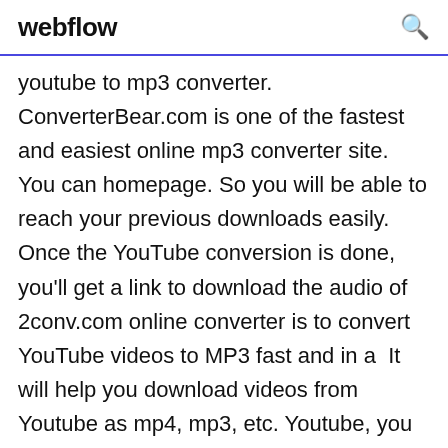webflow
youtube to mp3 converter. ConverterBear.com is one of the fastest and easiest online mp3 converter site. You can homepage. So you will be able to reach your previous downloads easily. Once the YouTube conversion is done, you'll get a link to download the audio of 2conv.com online converter is to convert YouTube videos to MP3 fast and in a  It will help you download videos from Youtube as mp4, mp3, etc. Youtube, you can use Keepvid as youtube audio converter to extract mp3 from Youtube video  Undo. Answer Wiki. There are many safe YouTube to MP3 converter on web, just refer to the below article: Where can I find an online YouTube-to-MP3 extractor? How can I